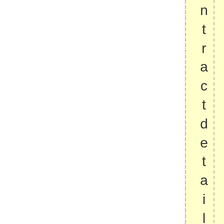[Figure (other): Page layout fragment showing a yellow highlighted vertical column with dashed vertical guide lines and rotated/vertical text reading 'contract details from their vac' displayed character by character vertically along the right edge of the page.]